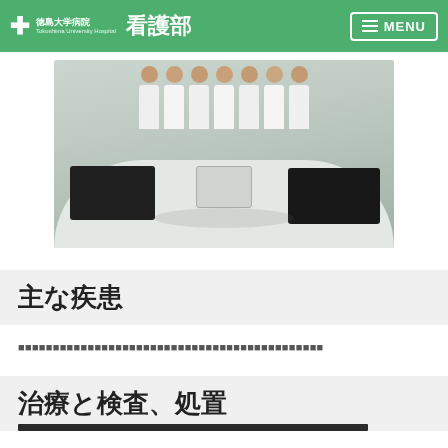徳島大学病院 看護部
[Figure (photo): Group photo of nurses in white uniforms seated around a round table with laptops and medical devices]
主な疾患
■■■■■■■■■■■■■■■■■■■■■■■■■■■■■■■■■■■■■■■■■■■■
治療と検査、処置